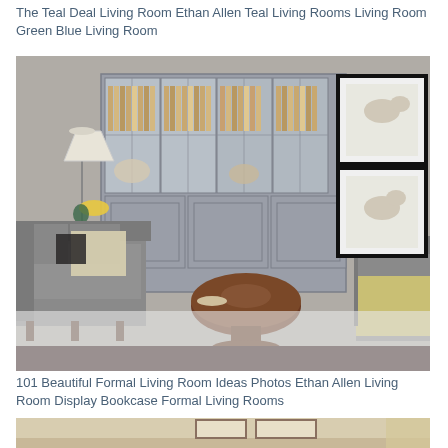The Teal Deal Living Room Ethan Allen Teal Living Rooms Living Room Green Blue Living Room
[Figure (photo): A formal living room with gray upholstered sofa and armchair, large gray display bookcase with glass doors filled with books and decorative items, a lamp, a round dark wood coffee table, white area rug, and framed dog illustrations on the wall. Ethan Allen style room.]
101 Beautiful Formal Living Room Ideas Photos Ethan Allen Living Room Display Bookcase Formal Living Rooms
[Figure (photo): Partial view of a bedroom with beige walls and framed artwork visible at the bottom of the page.]